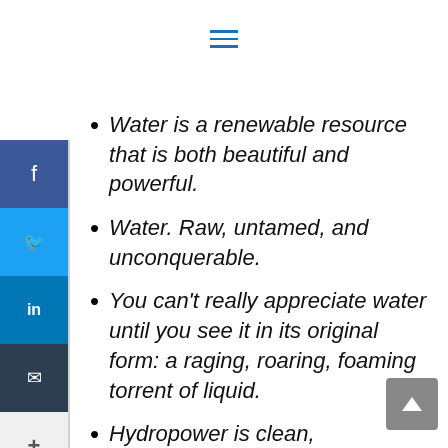Water is a renewable resource that is both beautiful and powerful.
Water. Raw, untamed, and unconquerable.
You can't really appreciate water until you see it in its original form: a raging, roaring, foaming torrent of liquid.
Hydropower is clean,